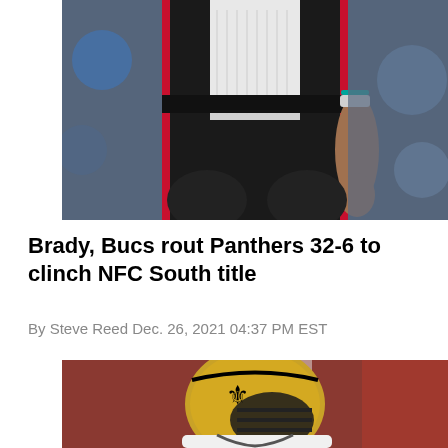[Figure (photo): Close-up photo of an NFL player (Tom Brady) from the torso down, wearing Tampa Bay Buccaneers black uniform with red accents and a white towel hanging from the waist belt. Player's right hand is visible at side.]
Brady, Bucs rout Panthers 32-6 to clinch NFC South title
By Steve Reed Dec. 26, 2021 04:37 PM EST
[Figure (photo): Photo of a New Orleans Saints player wearing gold helmet with fleur-de-lis logo, white uniform, in game action with blurred red stadium background.]